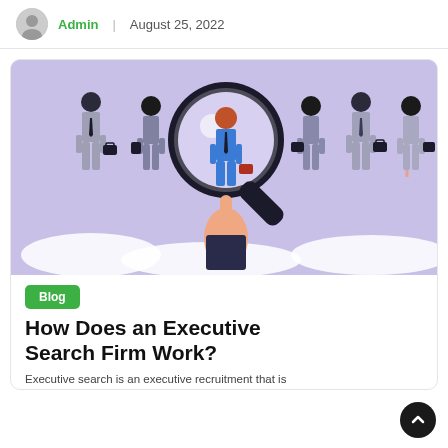Admin | August 25, 2022
[Figure (illustration): Illustration of a hand holding a magnifying glass over a group of business professionals in suits carrying briefcases, highlighting one candidate in blue with red hair. Purple/lavender background with cloud shapes at the bottom.]
Blog
How Does an Executive Search Firm Work?
Executive search is an executive recruitment that is